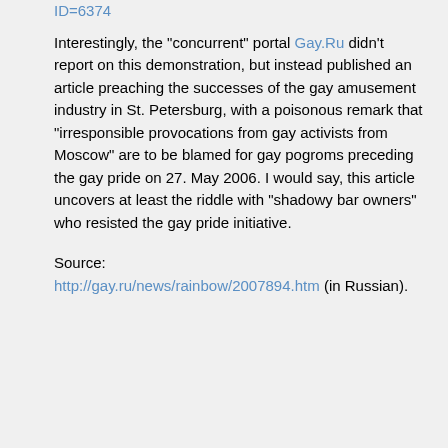ID=6374
Interestingly, the "concurrent" portal Gay.Ru didn't report on this demonstration, but instead published an article preaching the successes of the gay amusement industry in St. Petersburg, with a poisonous remark that "irresponsible provocations from gay activists from Moscow" are to be blamed for gay pogroms preceding the gay pride on 27. May 2006. I would say, this article uncovers at least the riddle with "shadowy bar owners" who resisted the gay pride initiative.
Source: http://gay.ru/news/rainbow/2007894.htm (in Russian).